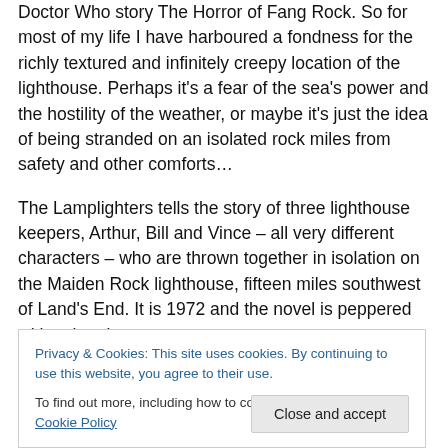Doctor Who story The Horror of Fang Rock. So for most of my life I have harboured a fondness for the richly textured and infinitely creepy location of the lighthouse. Perhaps it's a fear of the sea's power and the hostility of the weather, or maybe it's just the idea of being stranded on an isolated rock miles from safety and other comforts…
The Lamplighters tells the story of three lighthouse keepers, Arthur, Bill and Vince – all very different characters – who are thrown together in isolation on the Maiden Rock lighthouse, fifteen miles southwest of Land's End. It is 1972 and the novel is peppered with cultural
revealed. Intersected between are chapters set in 1992,
Privacy & Cookies: This site uses cookies. By continuing to use this website, you agree to their use.
To find out more, including how to control cookies, see here: Cookie Policy